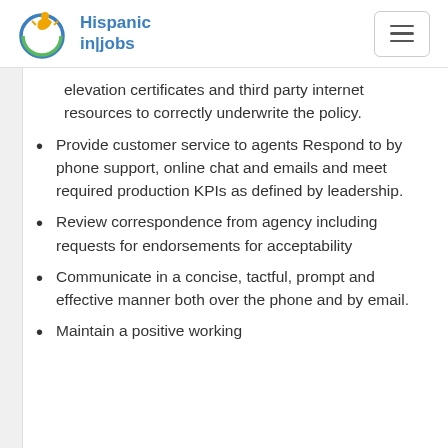Hispanic in|jobs
elevation certificates and third party internet resources to correctly underwrite the policy.
Provide customer service to agents Respond to by phone support, online chat and emails and meet required production KPIs as defined by leadership.
Review correspondence from agency including requests for endorsements for acceptability
Communicate in a concise, tactful, prompt and effective manner both over the phone and by email.
Maintain a positive working